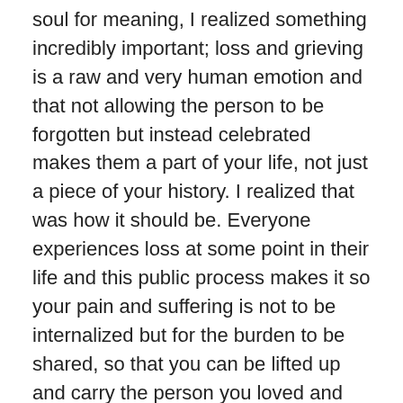soul for meaning, I realized something incredibly important; loss and grieving is a raw and very human emotion and that not allowing the person to be forgotten but instead celebrated makes them a part of your life, not just a piece of your history. I realized that was how it should be. Everyone experiences loss at some point in their life and this public process makes it so your pain and suffering is not to be internalized but for the burden to be shared, so that you can be lifted up and carry the person you loved and lost with you in your heart for eternity.
After this heavy yet enlightening experience, we continued on to a few of the remaining sites in Kathmandu. Our next stop was the Boudhanath, which is the largest Stupa in Asia and was built to look like a mandala when viewed from above. It took 13 years to complete and has 13 levels